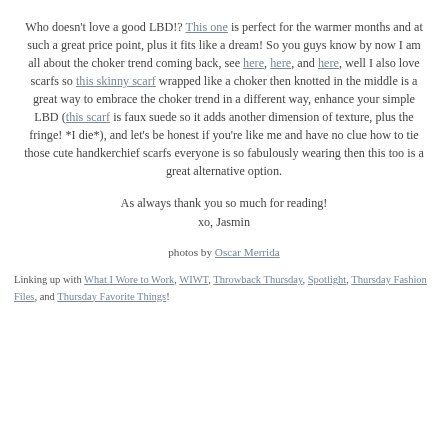Who doesn't love a good LBD!? This one is perfect for the warmer months and at such a great price point, plus it fits like a dream! So you guys know by now I am all about the choker trend coming back, see here, here, and here, well I also love scarfs so this skinny scarf wrapped like a choker then knotted in the middle is a great way to embrace the choker trend in a different way, enhance your simple LBD (this scarf is faux suede so it adds another dimension of texture, plus the fringe! *I die*), and let's be honest if you're like me and have no clue how to tie those cute handkerchief scarfs everyone is so fabulously wearing then this too is a great alternative option.
As always thank you so much for reading!
xo, Jasmin
photos by Oscar Merrida
Linking up with What I Wore to Work, WIWT, Throwback Thursday, Spotlight, Thursday Fashion Files, and Thursday Favorite Things!